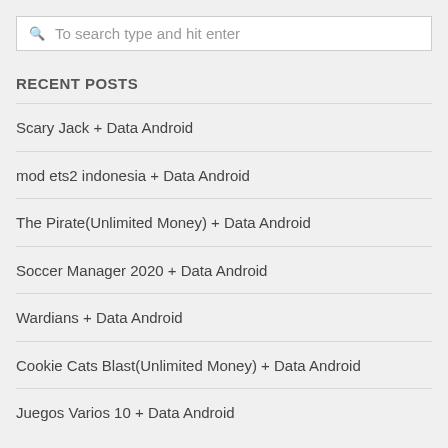To search type and hit enter
RECENT POSTS
Scary Jack + Data Android
mod ets2 indonesia + Data Android
The Pirate(Unlimited Money) + Data Android
Soccer Manager 2020 + Data Android
Wardians + Data Android
Cookie Cats Blast(Unlimited Money) + Data Android
Juegos Varios 10 + Data Android